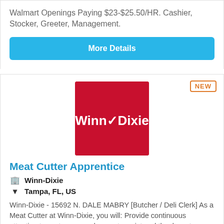Walmart Openings Paying $23-$25.50/HR. Cashier, Stocker, Greeter, Management.
More Details
[Figure (logo): Winn-Dixie logo: white text 'Winn/Dixie' on red square background]
Meat Cutter Apprentice
Winn-Dixie
Tampa, FL, US
Winn-Dixie - 15692 N. DALE MABRY [Butcher / Deli Clerk] As a Meat Cutter at Winn-Dixie, you will: Provide continuous attention to customer needs; greet, assist and thank customers in a prompt